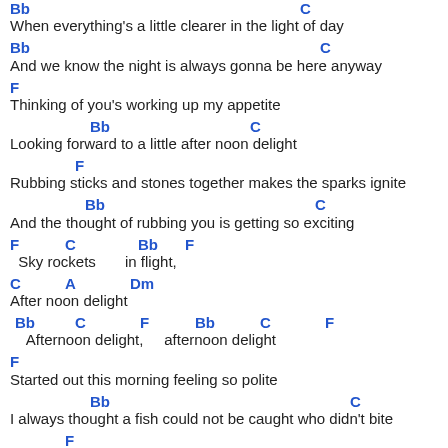Bb [chord] C [chord]
When everything's a little clearer in the light of day
Bb [chord] C [chord]
And we know the night is always gonna be here anyway
F [chord]
Thinking of you's working up my appetite
Bb [chord] C [chord]
Looking forward to a little after noon delight
F [chord]
Rubbing sticks and stones together makes the sparks ignite
Bb [chord] C [chord]
And the thought of rubbing you is getting so exciting
F [chord] C [chord] Bb [chord] F [chord]
Sky rockets    in flight,
C [chord] A [chord] Dm [chord]
After noon delight
Bb [chord] C [chord] F [chord] Bb [chord] C [chord] F [chord]
Afternoon delight,    afternoon delight
F [chord]
Started out this morning feeling so polite
Bb [chord] C [chord]
I always thought a fish could not be caught who didn't bite
F [chord]
But you got some bait awaitin' and I think I might